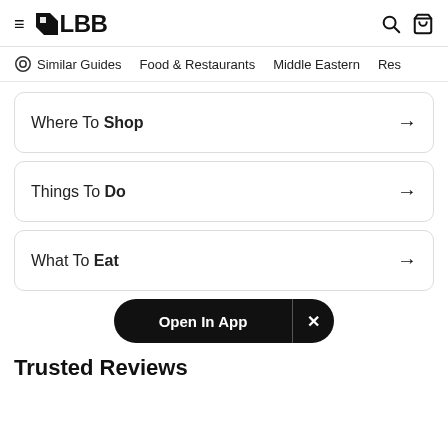≡ LBB [search icon] [bag icon]
Similar Guides   Food & Restaurants   Middle Eastern   Res
Where To Shop →
Things To Do →
What To Eat →
Open In App  ×
Trusted Reviews